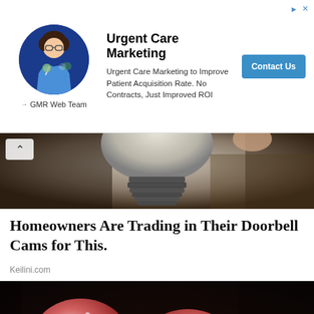[Figure (screenshot): Advertisement banner for Urgent Care Marketing by GMR Web Team. Shows a person in a blue circle, bold title 'Urgent Care Marketing', description text, and a 'Contact Us' button.]
[Figure (photo): Close-up photo of a light bulb base/socket against a blurred background, dark tones.]
Homeowners Are Trading in Their Doorbell Cams for This.
Keilini.com
[Figure (photo): Close-up photo of fingers holding two sugared/crystal-coated red gummy candies against a dark background.]